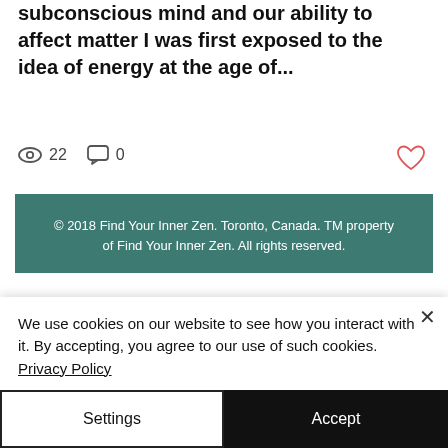subconscious mind and our ability to affect matter I was first exposed to the idea of energy at the age of...
22 views · 0 comments · Like
© 2018 Find Your Inner Zen. Toronto, Canada. TM property of Find Your Inner Zen. All rights reserved.
We use cookies on our website to see how you interact with it. By accepting, you agree to our use of such cookies. Privacy Policy
Settings
Accept